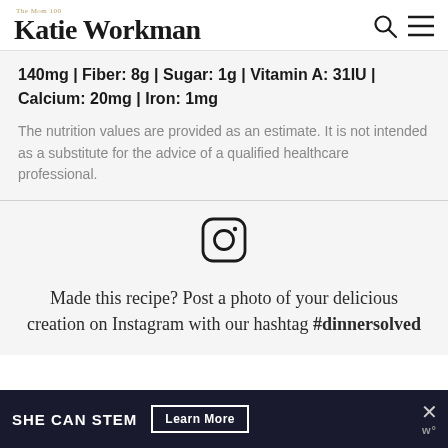The Mom 100 — Katie Workman
140mg | Fiber: 8g | Sugar: 1g | Vitamin A: 31IU | Calcium: 20mg | Iron: 1mg
The nutrition values are provided as an estimate. It is not intended as a substitute for the advice of a qualified healthcare professional.
[Figure (logo): Instagram logo icon — rounded square with circle and dot]
Made this recipe? Post a photo of your delicious creation on Instagram with our hashtag #dinnersolved
[Figure (screenshot): Advertisement banner: SHE CAN STEM with Learn More button, dark navy background, with close X and WP logo on right]